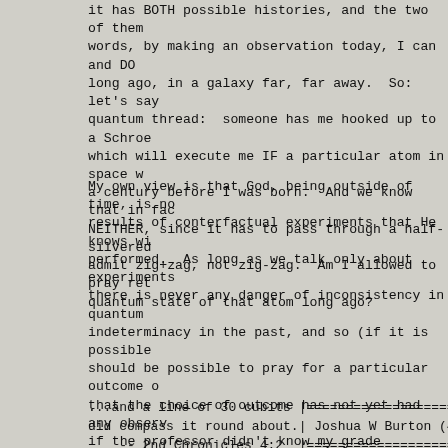it has BOTH possible histories, and the two of them words, by making an observation today, I can and DO long ago, in a galaxy far, far away.  So:  let's say quantum thread:  someone has me hooked up to a Schroe which will execute me IF a particular atom in space w a century before I was born.  And we know that in fac NEITHER, since it has to pass through a half-silvered admit zig+zag, not zig-zag.  Am I allowed to pray ret quantum state of that atom long ago?
My own view is that God, being outside of time, is no results of conterfactual experiments that He knows wi performed.  As long as we talk only about experiments there is never any danger of inconsistency in quantum indeterminacy in the past, and so (if it is possible should be possible to pray for a particular outcome o that the choice of outcome has not yet had any observ if the professor didn't know my grade himself, but ha in a sealed box determine the grade, which was then f printer and stored NOWHERE, then in a very strong ser determined as I open the letter...so I don't see why pray for a particular outcome.  Of course, this is al If the printer leaves an imprint on its ribbon that a to learn my grade, then we are right back at case (2)
...and a line of 30 cubits |========================
did compass it round about.| Joshua W Burton (401)435
    -- 2nd Chronicles 4:2  |========================